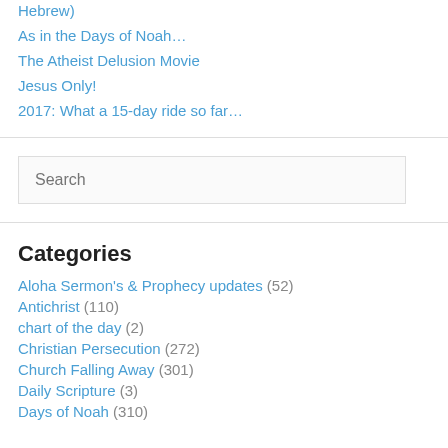Hebrew)
As in the Days of Noah…
The Atheist Delusion Movie
Jesus Only!
2017: What a 15-day ride so far…
Search
Categories
Aloha Sermon's & Prophecy updates (52)
Antichrist (110)
chart of the day (2)
Christian Persecution (272)
Church Falling Away (301)
Daily Scripture (3)
Days of Noah (310)